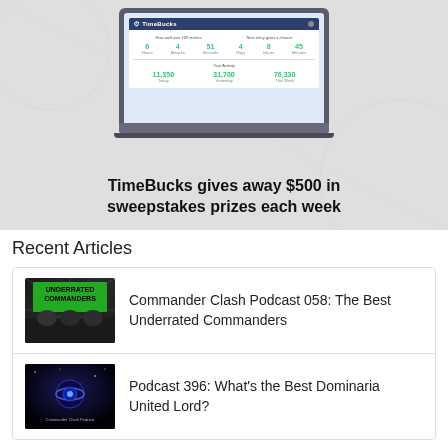[Figure (screenshot): Laptop displaying TimeBucks dashboard showing sweepstakes statistics with green numbers]
TimeBucks gives away $500 in sweepstakes prizes each week
Recent Articles
[Figure (photo): Thumbnail for Commander Clash Podcast 058: The Best Underrated Commanders — green text on dark starburst background with people]
Commander Clash Podcast 058: The Best Underrated Commanders
[Figure (photo): Thumbnail for Podcast 396: What's the Best Dominaria United Lord? — dark space/galaxy themed image]
Podcast 396: What's the Best Dominaria United Lord?